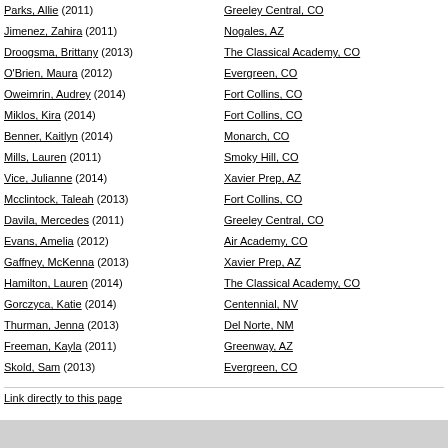Parks, Allie (2011) | Greeley Central, CO
Jimenez, Zahira (2011) | Nogales, AZ
Droogsma, Brittany (2013) | The Classical Academy, CO
O'Brien, Maura (2012) | Evergreen, CO
Oweimrin, Audrey (2014) | Fort Collins, CO
Miklos, Kira (2014) | Fort Collins, CO
Benner, Kaitlyn (2014) | Monarch, CO
Mills, Lauren (2011) | Smoky Hill, CO
Vice, Julianne (2014) | Xavier Prep, AZ
Mcclintock, Taleah (2013) | Fort Collins, CO
Davila, Mercedes (2011) | Greeley Central, CO
Evans, Amelia (2012) | Air Academy, CO
Gaffney, McKenna (2013) | Xavier Prep, AZ
Hamilton, Lauren (2014) | The Classical Academy, CO
Gorczyca, Katie (2014) | Centennial, NV
Thurman, Jenna (2013) | Del Norte, NM
Freeman, Kayla (2011) | Greenway, AZ
Skold, Sam (2013) | Evergreen, CO
Link directly to this page